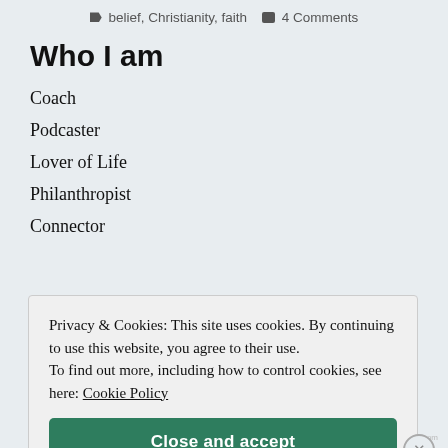belief, Christianity, faith   4 Comments
Who I am
Coach
Podcaster
Lover of Life
Philanthropist
Connector
Privacy & Cookies: This site uses cookies. By continuing to use this website, you agree to their use. To find out more, including how to control cookies, see here: Cookie Policy
Close and accept